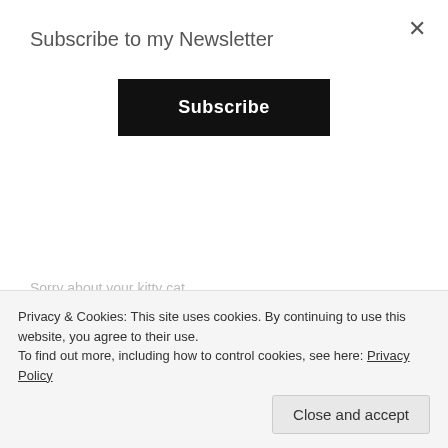Subscribe to my Newsletter
Subscribe
Sorry about your kitty cat...
★ Loading...
Reply →
HEATHER
Privacy & Cookies: This site uses cookies. By continuing to use this website, you agree to their use.
To find out more, including how to control cookies, see here: Privacy Policy
Close and accept